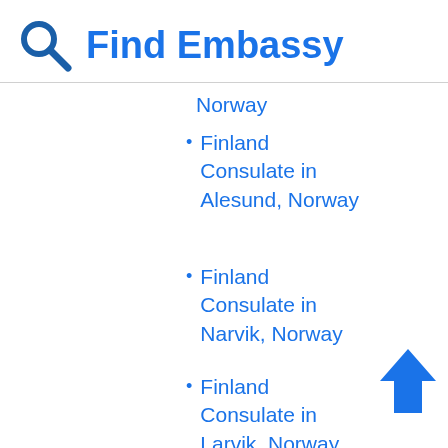Find Embassy
Norway
Finland Consulate in Alesund, Norway
Finland Consulate in Narvik, Norway
Finland Consulate in Larvik, Norway
Finland Consulate in